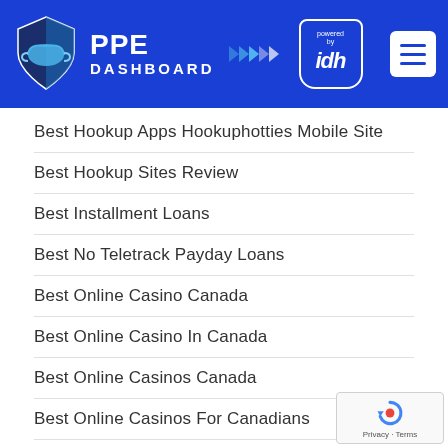[Figure (logo): PPE Dashboard logo with shield icon, arrows, and IDH powered-by badge, plus hamburger menu button on blue header]
Best Hookup Apps Hookuphotties Mobile Site
Best Hookup Sites Review
Best Installment Loans
Best No Teletrack Payday Loans
Best Online Casino Canada
Best Online Casino In Canada
Best Online Casinos Canada
Best Online Casinos For Canadians